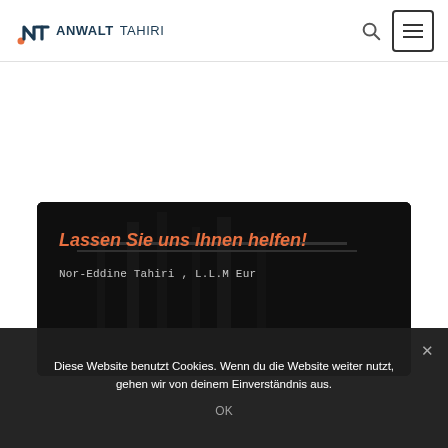ANWALT TAHIRI
Lassen Sie uns Ihnen helfen!
Nor-Eddine Tahiri , L.L.M Eur
Diese Website benutzt Cookies. Wenn du die Website weiter nutzt, gehen wir von deinem Einverständnis aus.
OK